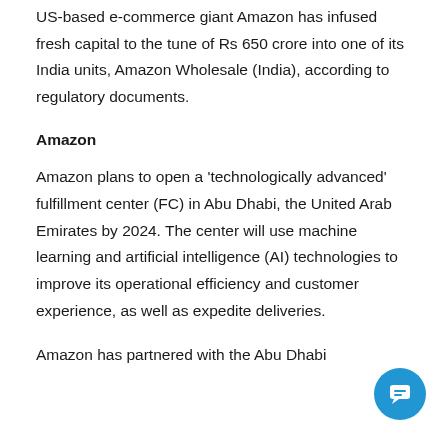US-based e-commerce giant Amazon has infused fresh capital to the tune of Rs 650 crore into one of its India units, Amazon Wholesale (India), according to regulatory documents.
Amazon
Amazon plans to open a 'technologically advanced' fulfillment center (FC) in Abu Dhabi, the United Arab Emirates by 2024. The center will use machine learning and artificial intelligence (AI) technologies to improve its operational efficiency and customer experience, as well as expedite deliveries.
Amazon has partnered with the Abu Dhabi